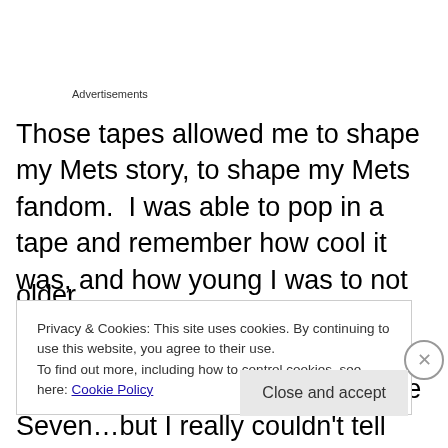Advertisements
Those tapes allowed me to shape my Mets story, to shape my Mets fandom.  I was able to pop in a tape and remember how cool it was, and how young I was to not fully grasp everything that was happening around me.  I may have been in the stands on Game Seven…but I really couldn't tell you what it meant to me until I was much older
Privacy & Cookies: This site uses cookies. By continuing to use this website, you agree to their use.
To find out more, including how to control cookies, see here: Cookie Policy
Close and accept